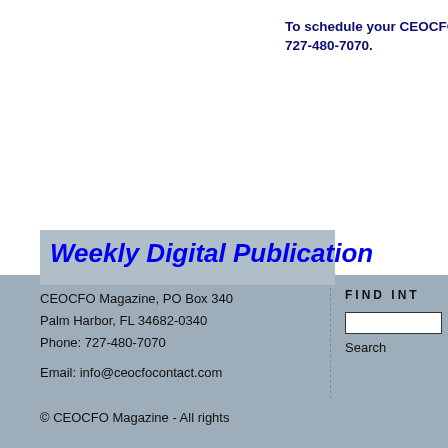To schedule your CEOCFO 727-480-7070.
Weekly Digital Publication
CEOCFO Magazine, PO Box 340
Palm Harbor, FL 34682-0340
Phone: 727-480-7070

Email: info@ceocfocontact.com
FIND INT
Search
© CEOCFO Magazine - All rights